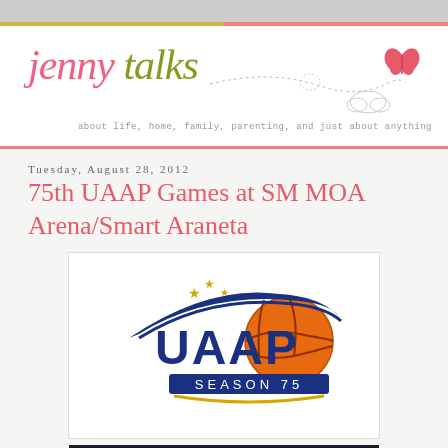jenny talks — about life, home, family, parenting, and just about anything
Tuesday, August 28, 2012
75th UAAP Games at SM MOA Arena/Smart Araneta
[Figure (logo): UAAP Season 75 logo with basketball and blue swoosh]
[Figure (photo): Crowd photo at UAAP arena, dark with colorful spectators]